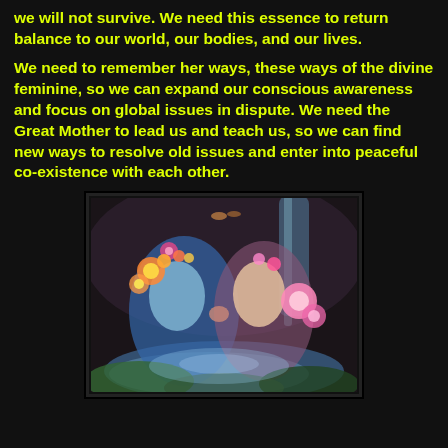we will not survive. We need this essence to return balance to our world, our bodies, and our lives.
We need to remember her ways, these ways of the divine feminine, so we can expand our conscious awareness and focus on global issues in dispute. We need the Great Mother to lead us and teach us, so we can find new ways to resolve old issues and enter into peaceful co-existence with each other.
[Figure (illustration): Fantasy art illustration of two feminine figures kissing, surrounded by colorful flowers, butterflies, and a waterfall, in a lush dreamlike style.]